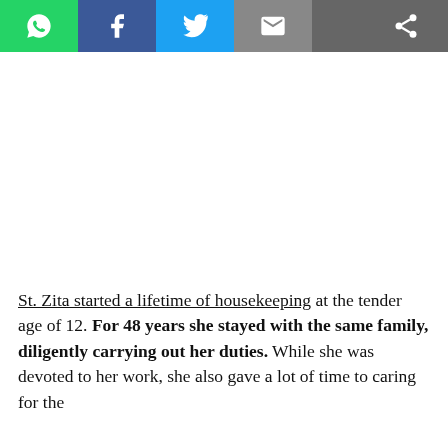[Figure (other): Social media sharing toolbar with WhatsApp, Facebook, Twitter, Email, and Share buttons]
St. Zita started a lifetime of housekeeping at the tender age of 12. For 48 years she stayed with the same family, diligently carrying out her duties. While she was devoted to her work, she also gave a lot of time to caring for the